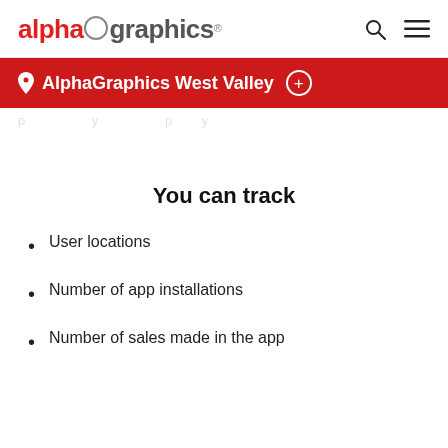alphagraphics (logo with search and menu icons)
AlphaGraphics West Valley
(partial faded text line)
You can track
User locations
Number of app installations
Number of sales made in the app